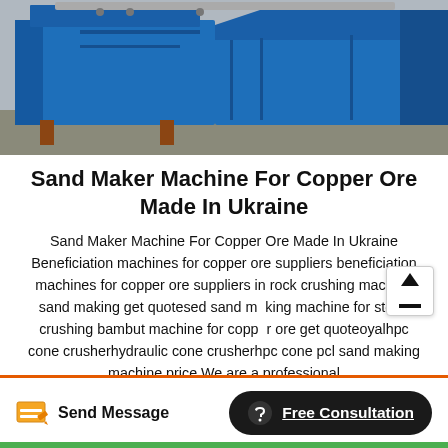[Figure (photo): Blue industrial sand maker / copper ore processing machine photographed outdoors]
Sand Maker Machine For Copper Ore Made In Ukraine
Sand Maker Machine For Copper Ore Made In Ukraine Beneficiation machines for copper ore suppliers beneficiation machines for copper ore suppliers in rock crushing machine sand making get quotesed sand making machine for stone crushing bambut machine for copper ore get quoteoyalhpc cone crusherhydraulic cone crusherhpc cone pcl sand making machine price.We are a professional
Send Message | Free Consultation